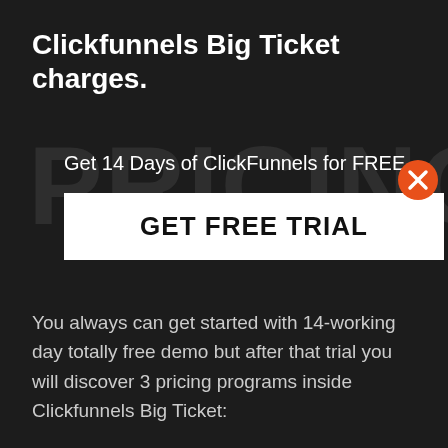Clickfunnels Big Ticket charges.
[Figure (other): Large background text reading PRICING in dark gray on dark background]
Get 14 Days of ClickFunnels for FREE
[Figure (other): White button with bold black text: GET FREE TRIAL]
[Figure (other): Orange X close button in the top right]
You always can get started with 14-working day totally free demo but after that trial you will discover 3 pricing programs inside Clickfunnels Big Ticket: